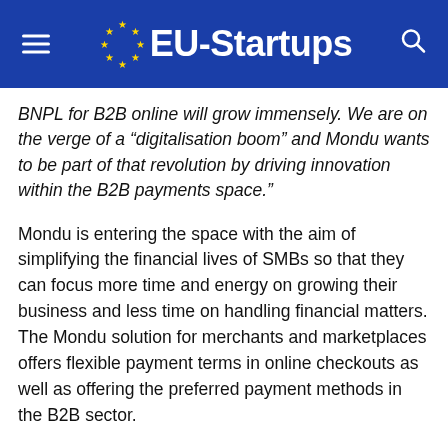EU-Startups
BNPL for B2B online will grow immensely. We are on the verge of a “digitalisation boom” and Mondu wants to be part of that revolution by driving innovation within the B2B payments space.”
Mondu is entering the space with the aim of simplifying the financial lives of SMBs so that they can focus more time and energy on growing their business and less time on handling financial matters. The Mondu solution for merchants and marketplaces offers flexible payment terms in online checkouts as well as offering the preferred payment methods in the B2B sector.
The B2B BNPL market offers a huge market potential on an